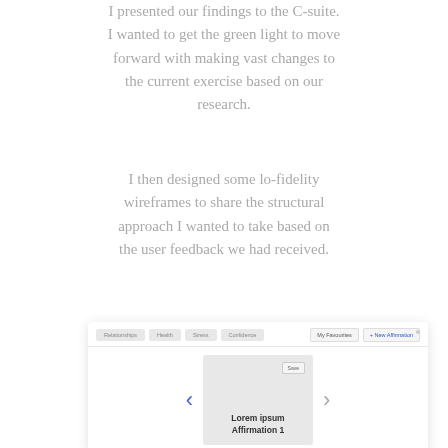I presented our findings to the C-suite. I wanted to get the green light to move forward with making vast changes to the current exercise based on our research.
I then designed some lo-fidelity wireframes to share the structural approach I wanted to take based on the user feedback we had received.
[Figure (screenshot): Lo-fidelity wireframe mockup showing a navigation bar with tabs (Relationships, Health, Stress, Confidence, My Favourites, + New Affirmation) and a card carousel with left/right arrows. The center card shows 'Lorem ipsum Affirmation 1' with a Save button, displayed on a light gray card background.]